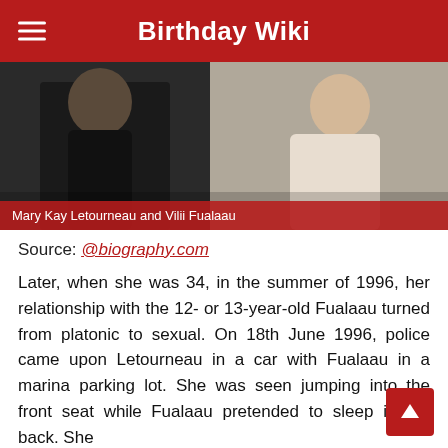Birthday Wiki
[Figure (photo): Photo of Mary Kay Letourneau and Vilii Fualaau]
Mary Kay Letourneau and Vilii Fualaau
Source: @biography.com
Later, when she was 34, in the summer of 1996, her relationship with the 12- or 13-year-old Fualaau turned from platonic to sexual. On 18th June 1996, police came upon Letourneau in a car with Fualaau in a marina parking lot. She was seen jumping into the front seat while Fualaau pretended to sleep in the back. She